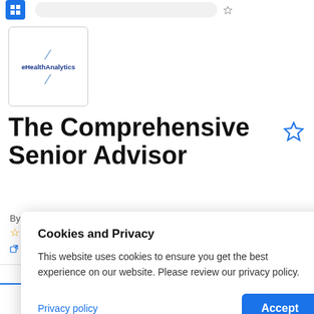[Figure (logo): eHealthAnalytics logo with diagonal slash marks and text]
The Comprehensive Senior Advisor
By eHealthAnalytics
0 review
Visit website   Contact   Write a review
Cookies and Privacy
This website uses cookies to ensure you get the best experience on our website. Please review our privacy policy.
Privacy policy   Accept
Overview   Ratings and Reviews